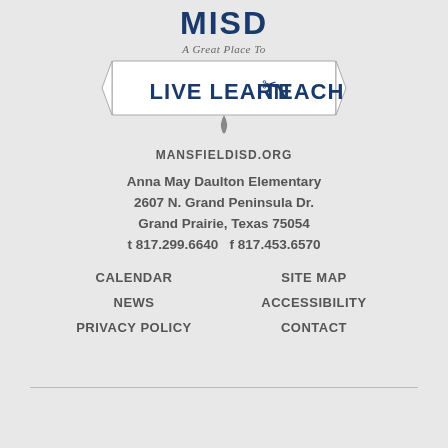[Figure (logo): MISD logo with text 'A Great Place To LIVE LEARN TEACH' inside a banner/ribbon graphic]
MANSFIELDISD.ORG
Anna May Daulton Elementary
2607 N. Grand Peninsula Dr.
Grand Prairie, Texas 75054
t 817.299.6640   f 817.453.6570
CALENDAR
SITE MAP
NEWS
ACCESSIBILITY
PRIVACY POLICY
CONTACT